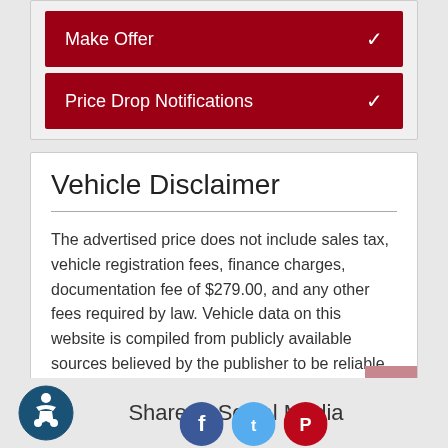Make Offer
Price Drop Notifications
Vehicle Disclaimer
The advertised price does not include sales tax, vehicle registration fees, finance charges, documentation fee of $279.00, and any other fees required by law. Vehicle data on this website is compiled from publicly available sources believed by the publisher to be reliable. Vehicle data is subject to change without notice.
Share to Social Media